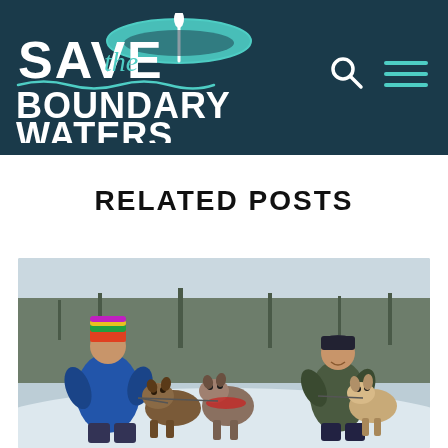Save the Boundary Waters
RELATED POSTS
[Figure (photo): Two people kneeling in snow with sled dogs (huskies) on leashes. The person on the left wears a colorful striped winter hat and blue jacket; the person on the right wears a dark beanie and green jacket. Winter landscape with bare trees in the background.]